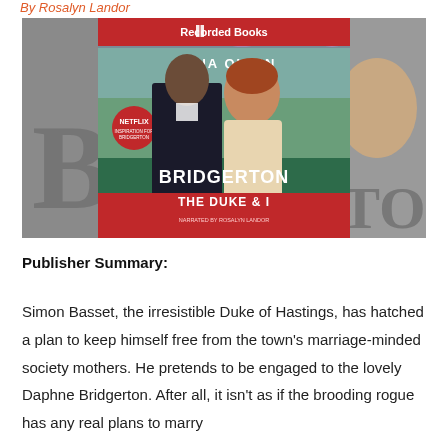By Rosalyn Landor
[Figure (photo): Book cover of 'Bridgerton: The Duke & I' by Julia Quinn, published by Recorded Books. Shows a man in dark period clothing and a woman with red hair in a garden setting. Netflix series logo badge visible. Background shows grey-toned partial cover imagery.]
Publisher Summary:
Simon Basset, the irresistible Duke of Hastings, has hatched a plan to keep himself free from the town's marriage-minded society mothers. He pretends to be engaged to the lovely Daphne Bridgerton. After all, it isn't as if the brooding rogue has any real plans to marry